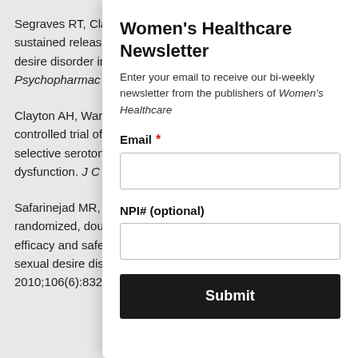Segraves RT, Cla… sustained release… desire disorder in… Psychopharma…
Clayton AH, Warn… controlled trial of… selective seroton… dysfunction. J C…
Safarinejad MR,… randomized, dou… efficacy and safe… sexual desire dis… 2010;106(6):832…
Women's Healthcare Newsletter
Enter your email to receive our bi-weekly newsletter from the publishers of Women's Healthcare
Email *
NPI# (optional)
Submit